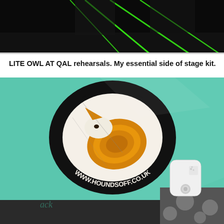[Figure (photo): Top portion of a photo showing a dark/black background with green neon lines or lighting effects, partially cropped at the top]
LITE OWL AT QAL rehearsals. My essential side of stage kit.
[Figure (photo): A teal/mint green surface (likely a guitar case lid) with a circular sticker reading 'WWW.HOUNDSOFF.CO.UK' featuring a sleeping fox logo with orange and white coloring on a black oval background, and a small white rectangular Bluetooth tracker/tag to the right, with a dark patterned surface visible at the bottom right corner]